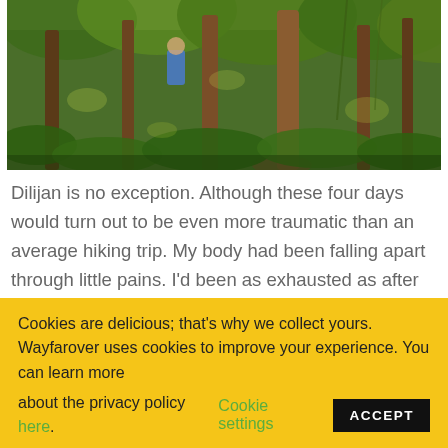[Figure (photo): A lush green forest scene with tall trees, ferns and undergrowth, dappled sunlight filtering through the canopy. A person in blue is partially visible among the trees.]
Dilijan is no exception. Although these four days would turn out to be even more traumatic than an average hiking trip. My body had been falling apart through little pains. I'd been as exhausted as after weeks of hiking, slumped at a rest stop on the top of the
Cookies are delicious; that's why we collect yours. Wayfarover uses cookies to improve your experience. You can learn more about the privacy policy here. Cookie settings ACCEPT